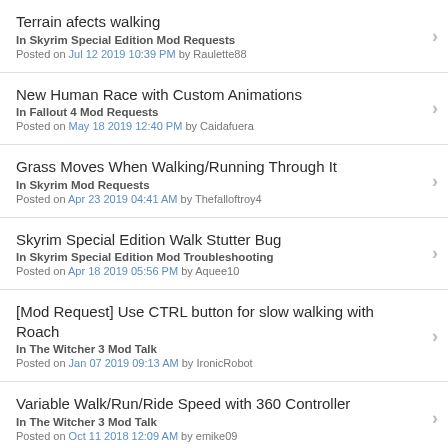Terrain afects walking
In Skyrim Special Edition Mod Requests
Posted on Jul 12 2019 10:39 PM by Raulette88
New Human Race with Custom Animations
In Fallout 4 Mod Requests
Posted on May 18 2019 12:40 PM by Caidafuera
Grass Moves When Walking/Running Through It
In Skyrim Mod Requests
Posted on Apr 23 2019 04:41 AM by Thefalloftroy4
Skyrim Special Edition Walk Stutter Bug
In Skyrim Special Edition Mod Troubleshooting
Posted on Apr 18 2019 05:56 PM by Aquee10
[Mod Request] Use CTRL button for slow walking with Roach
In The Witcher 3 Mod Talk
Posted on Jan 07 2019 09:13 AM by IronicRobot
Variable Walk/Run/Ride Speed with 360 Controller
In The Witcher 3 Mod Talk
Posted on Oct 11 2018 12:09 AM by emike09
DARK SOULS ANIMATIONS MOD PLEASE?!